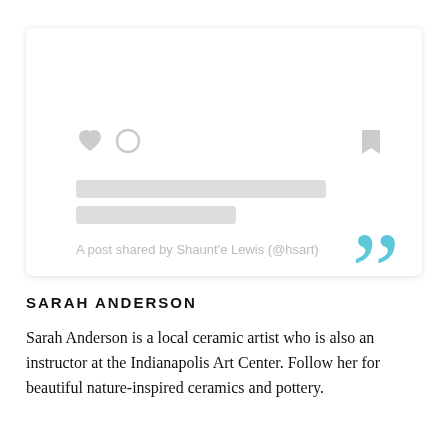[Figure (screenshot): Social media post card UI with heart, comment, and bookmark icons, two gray placeholder bars for text, a quoted attribution line reading 'A post shared by Shaunt'e Lewis (@...sart)', and large teal/cyan quotation marks overlapping the bottom right of the card.]
SARAH ANDERSON
Sarah Anderson is a local ceramic artist who is also an instructor at the Indianapolis Art Center. Follow her for beautiful nature-inspired ceramics and pottery.